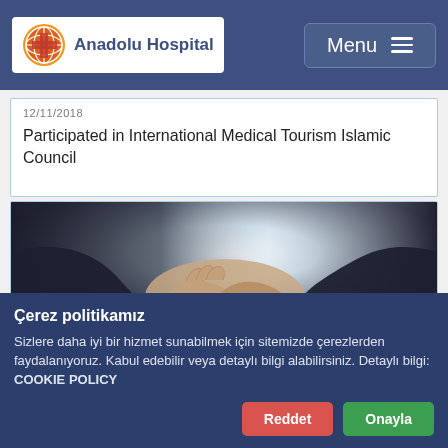Anadolu Hospital — Menu
12/11/2018
Participated in International Medical Tourism Islamic Council
[Figure (photo): Two people in business attire shaking hands with bright backlight, close-up view]
Çerez politikamız
Sizlere daha iyi bir hizmet sunabilmek için sitemizde çerezlerden faydalanıyoruz. Kabul edebilir veya detaylı bilgi alabilirsiniz. Detaylı bilgi: COOKIE POLICY